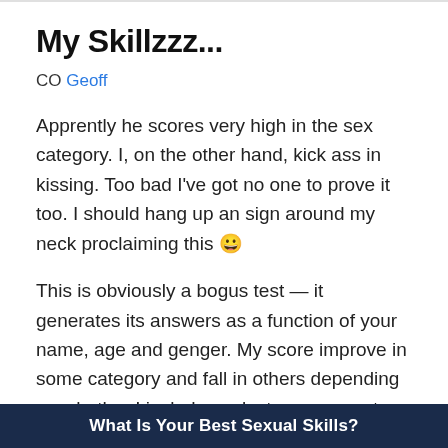My Skillzzz...
CO Geoff
Apprently he scores very high in the sex category. I, on the other hand, kick ass in kissing. Too bad I've got no one to prove it too. I should hang up an sign around my neck proclaiming this 😀
This is obviously a bogus test — it generates its answers as a function of your name, age and genger. My score improve in some category and fall in others depending on whether I include my last name or not.
But it's always fun to kill a little time on stupid stuff like this.
What Is Your Best Sexual Skills?